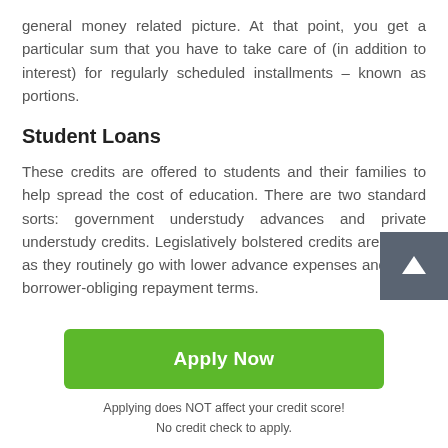general money related picture. At that point, you get a particular sum that you have to take care of (in addition to interest) for regularly scheduled installments – known as portions.
Student Loans
These credits are offered to students and their families to help spread the cost of education. There are two standard sorts: government understudy advances and private understudy credits. Legislatively bolstered credits are better, as they routinely go with lower advance expenses and more borrower-obliging repayment terms.
Apply Now
Applying does NOT affect your credit score!
No credit check to apply.